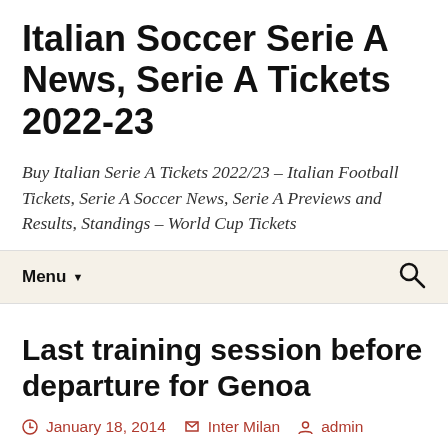Italian Soccer Serie A News, Serie A Tickets 2022-23
Buy Italian Serie A Tickets 2022/23 – Italian Football Tickets, Serie A Soccer News, Serie A Previews and Results, Standings – World Cup Tickets
Menu
Last training session before departure for Genoa
January 18, 2014  Inter Milan  admin
[Figure (photo): Broken image placeholder]